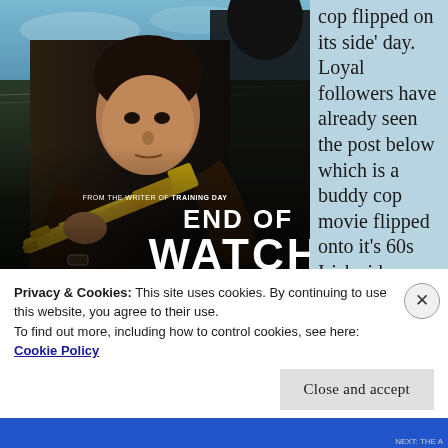[Figure (photo): Movie poster for 'End of Watch' showing a man holding a gold/metallic rifle, with the text 'FROM THE WRITER OF TRAINING DAY', 'END OF WATCH', 'WATCH YOUR SIX', 'SEPTEMBER 28']
cop flipped on its side' day.  Loyal followers have already seen the post below which is a buddy cop movie flipped onto it's 60s Irish side making
Privacy & Cookies: This site uses cookies. By continuing to use this website, you agree to their use.
To find out more, including how to control cookies, see here: Cookie Policy
Close and accept